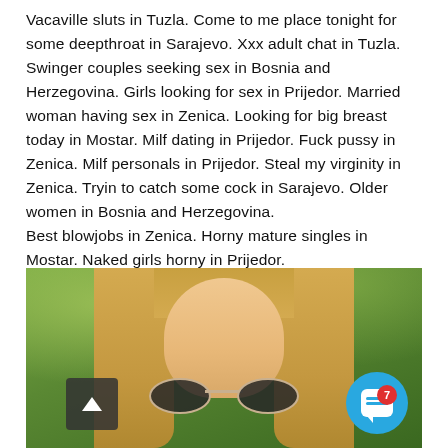Vacaville sluts in Tuzla. Come to me place tonight for some deepthroat in Sarajevo. Xxx adult chat in Tuzla. Swinger couples seeking sex in Bosnia and Herzegovina. Girls looking for sex in Prijedor. Married woman having sex in Zenica. Looking for big breast today in Mostar. Milf dating in Prijedor. Fuck pussy in Zenica. Milf personals in Prijedor. Steal my virginity in Zenica. Tryin to catch some cock in Sarajevo. Older women in Bosnia and Herzegovina.
Best blowjobs in Zenica. Horny mature singles in Mostar. Naked girls horny in Prijedor.
[Figure (photo): Photo of a blonde woman wearing aviator sunglasses, with blurred green foliage in the background. A scroll-to-top button and a chat widget button with a notification badge of 7 are overlaid on the image.]